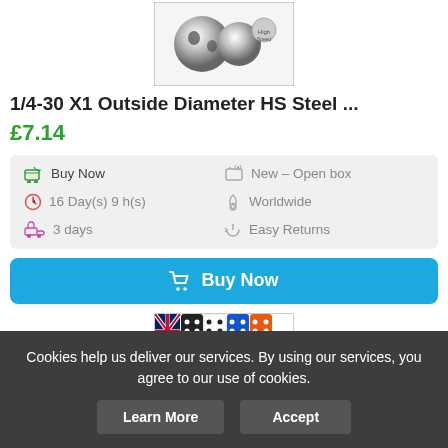[Figure (photo): Product image of HS Steel item, two ball-shaped metal components with a small circular logo]
1/4-30 X1 Outside Diameter HS Steel ...
£7.14
Buy Now | New – Open box | 16 Day(s) 9 h(s) | Worldwide | 3 days | Easy Returns
Buy Now (button)
[Figure (photo): Row of colorful dice with UK flag dice on the left]
Cookies help us deliver our services. By using our services, you agree to our use of cookies.
Learn More | Accept